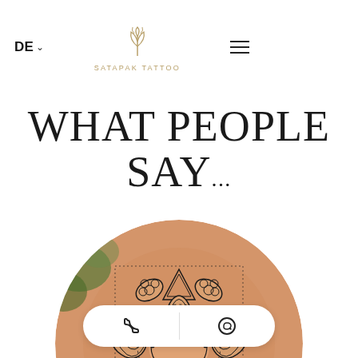DE | SATAPAK TATTOO | (menu)
WHAT PEOPLE SAY...
[Figure (photo): Close-up circular photo of a mandala tattoo on human skin, with intricate black dot-work and line patterns forming a mandala design. Background shows green foliage.]
[Figure (infographic): Bottom contact bar with phone icon and WhatsApp icon, separated by a divider, on a white pill-shaped button.]